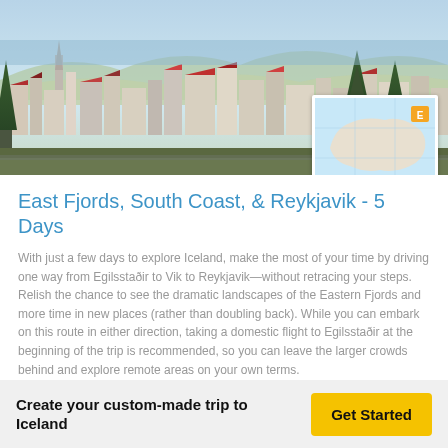[Figure (photo): Aerial view of an Icelandic city (Reykjavik) with colorful buildings, surrounded by water and mountains in the background. A small map inset is overlaid in the top-right corner showing Iceland.]
East Fjords, South Coast, & Reykjavik - 5 Days
With just a few days to explore Iceland, make the most of your time by driving one way from Egilsstaðir to Vik to Reykjavik—without retracing your steps. Relish the chance to see the dramatic landscapes of the Eastern Fjords and more time in new places (rather than doubling back). While you can embark on this route in either direction, taking a domestic flight to Egilsstaðir at the beginning of the trip is recommended, so you can leave the larger crowds behind and explore remote areas on your own terms.
[Figure (photo): Panoramic photo of Icelandic landscape with a waterfall and rocky terrain under a blue sky.]
Create your custom-made trip to Iceland
Get Started